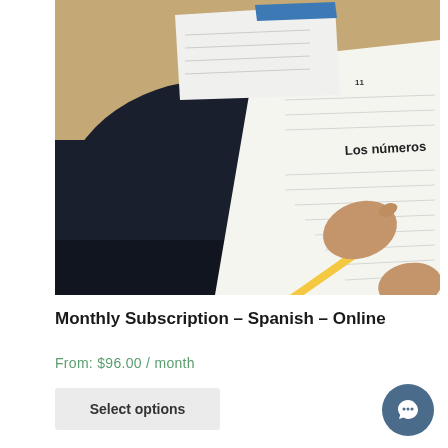[Figure (photo): A student wearing a dark navy sweatshirt is writing on a worksheet labeled 'Los números' with a yellow pencil. The worksheet is on a wooden desk surface. Additional papers with worksheet content are also visible.]
Monthly Subscription – Spanish – Online
From: $96.00 / month
Select options